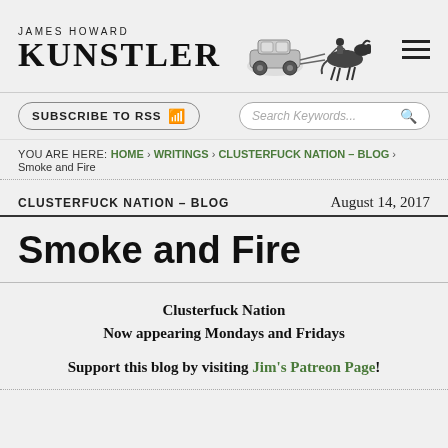JAMES HOWARD KUNSTLER
SUBSCRIBE TO RSS | Search Keywords...
YOU ARE HERE: HOME › WRITINGS › CLUSTERFUCK NATION – BLOG › Smoke and Fire
CLUSTERFUCK NATION – BLOG
August 14, 2017
Smoke and Fire
Clusterfuck Nation
Now appearing Mondays and Fridays

Support this blog by visiting Jim's Patreon Page!